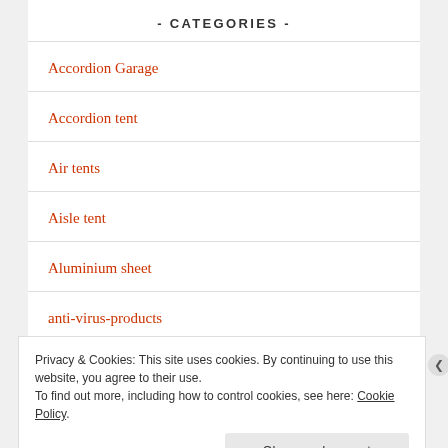- CATEGORIES -
Accordion Garage
Accordion tent
Air tents
Aisle tent
Aluminium sheet
anti-virus-products
Privacy & Cookies: This site uses cookies. By continuing to use this website, you agree to their use.
To find out more, including how to control cookies, see here: Cookie Policy
Close and accept